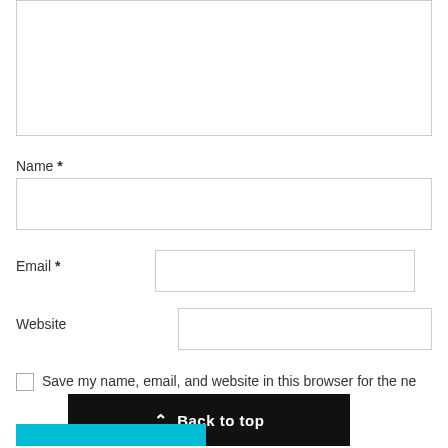[Figure (screenshot): A web form section showing a comment/text area (partially visible at top), Name field with label and input box, Email field with label and input box inline, Website field with label and input box inline, a checkbox row reading 'Save my name, email, and website in this browser for the ne...', a 'Back to top' black button overlapping the checkbox text, and a partial cyan submit button at the bottom.]